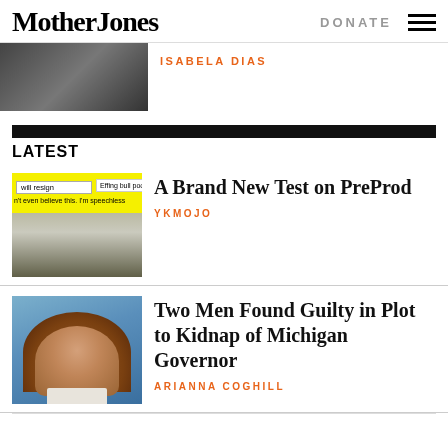Mother Jones
DONATE
ISABELA DIAS
LATEST
[Figure (illustration): Yellow background illustration with search bar showing 'will resign', speech bubble saying 'Effing bull poop.', text 'n't even believe this. I'm speechless', and a greyscale face below]
A Brand New Test on PreProd
YKMOJO
[Figure (photo): Photo of a woman with long brown hair smiling, in front of a blue curtain background]
Two Men Found Guilty in Plot to Kidnap of Michigan Governor
ARIANNA COGHILL